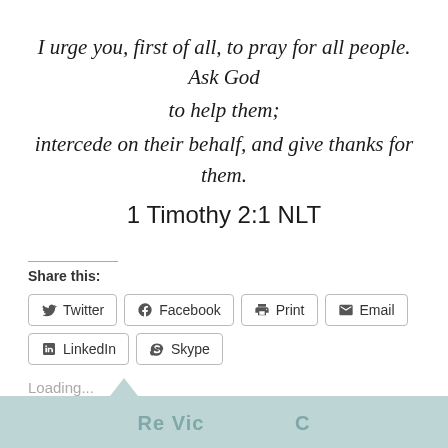I urge you, first of all, to pray for all people. Ask God to help them; intercede on their behalf, and give thanks for them. 1 Timothy 2:1 NLT
Share this:
Twitter Facebook Print Email LinkedIn Skype
Loading...